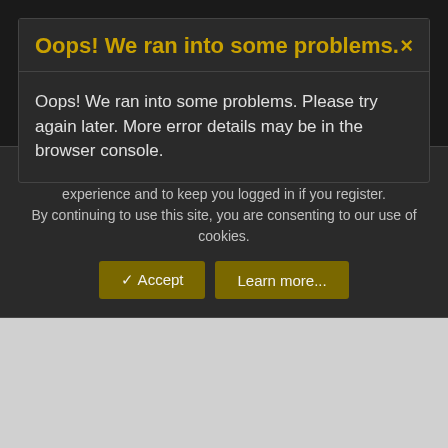Oops! We ran into some problems.
Oops! We ran into some problems. Please try again later. More error details may be in the browser console.
If you have time to commit to learning it, my recommendation is MagicQ. If you don't need to run for more than 5 hours continuously, you can get the $16 MagicDMX Basic. For $100, you can get one without the time limit. I can't think of anything else that is decent that you will find for under $100 (Though I
This site uses cookies to help personalise content, tailor your experience and to keep you logged in if you register. By continuing to use this site, you are consenting to our use of cookies.
✓ Accept
Learn more...